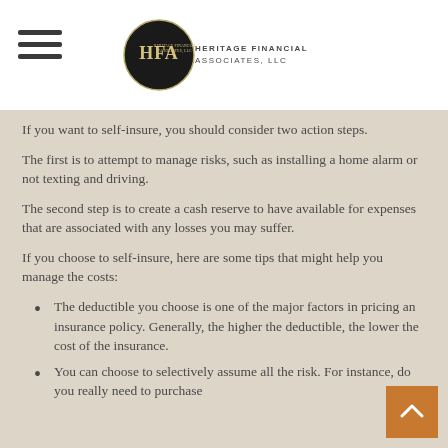Heritage Financial Associates, LLC
If you want to self-insure, you should consider two action steps.
The first is to attempt to manage risks, such as installing a home alarm or not texting and driving.
The second step is to create a cash reserve to have available for expenses that are associated with any losses you may suffer.
If you choose to self-insure, here are some tips that might help you manage the costs:
The deductible you choose is one of the major factors in pricing an insurance policy. Generally, the higher the deductible, the lower the cost of the insurance.
You can choose to selectively assume all the risk. For instance, do you really need to purchase